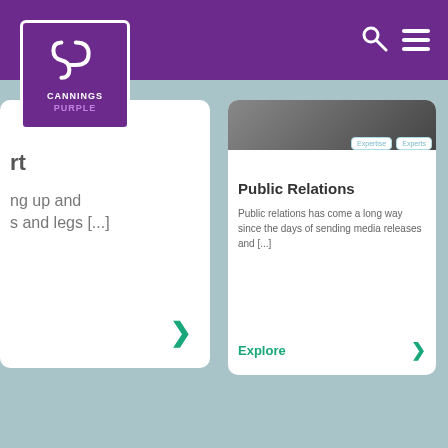[Figure (screenshot): Cannings Purple website screenshot showing navigation bar with purple background, logo, and two content cards. Left card is partially visible. Right card shows 'Public Relations' content with Expertise and Experts tags, descriptive text, and Explore link.]
Public Relations
Public relations has come a long way since the days of sending media releases and [...]
Explore